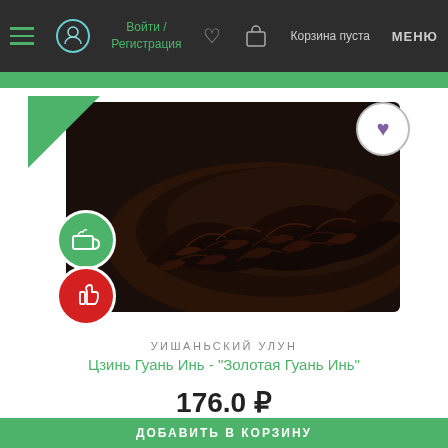Войти / Регистрация  |  Корзина пуста  |  МЕНЮ
[Figure (photo): Product photo of loose dark tea leaves (Цзинь Гуань Инь oolong) piled on white background, with green NEW badge in top-left corner, circular wishlist heart button top-right, green tea-cup icon badge and red thumbs-up icon badge overlaid on the image.]
УИШАНЬСКИЙ УЛУН
Цзинь Гуань Инь - "Золотая Гуань Инь"
176.0 ₽
10 г.  x  1 шт.
ДОБАВИТЬ В КОРЗИНУ